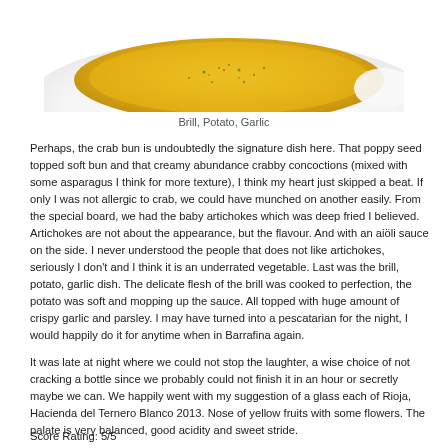[Figure (photo): Photo of Brill, Potato, Garlic dish — a bowl of golden yellow soup/broth viewed from above, partially cropped at top]
Brill, Potato, Garlic
Perhaps, the crab bun is undoubtedly the signature dish here. That poppy seed topped soft bun and that creamy abundance crabby concoctions (mixed with some asparagus I think for more texture), I think my heart just skipped a beat. If only I was not allergic to crab, we could have munched on another easily. From the special board, we had the baby artichokes which was deep fried I believed. Artichokes are not about the appearance, but the flavour. And with an aiöli sauce on the side. I never understood the people that does not like artichokes, seriously I don't and I think it is an underrated vegetable. Last was the brill, potato, garlic dish. The delicate flesh of the brill was cooked to perfection, the potato was soft and mopping up the sauce. All topped with huge amount of crispy garlic and parsley. I may have turned into a pescatarian for the night, I would happily do it for anytime when in Barrafina again.
It was late at night where we could not stop the laughter, a wise choice of not cracking a bottle since we probably could not finish it in an hour or secretly maybe we can. We happily went with my suggestion of a glass each of Rioja, Hacienda del Ternero Blanco 2013. Nose of yellow fruits with some flowers. The palate is very balanced, good acidity and sweet stride.
I strongly believe with good company and good food, it equates to a good time, I could not ask for more. The food at Barrafina was faultless and certainly did not disappoint, every bites you have the taste gets better. More butterflies goes dancing in your mouth, it's full of explosions. You know you are in for a good meal when you go to Barrafina.
Score Rating: 5/5